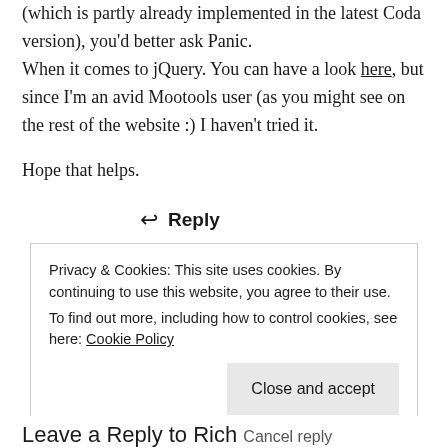(which is partly already implemented in the latest Coda version), you'd better ask Panic.
When it comes to jQuery. You can have a look here, but since I'm an avid Mootools user (as you might see on the rest of the website :) I haven't tried it.

Hope that helps.
↩ Reply
Privacy & Cookies: This site uses cookies. By continuing to use this website, you agree to their use.
To find out more, including how to control cookies, see here: Cookie Policy
Close and accept
Leave a Reply to Rich Cancel reply